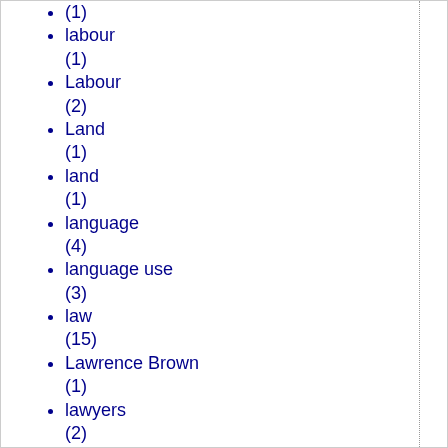(1)
labour (1)
Labour (2)
Land (1)
land (1)
language (4)
language use (3)
law (15)
Lawrence Brown (1)
lawyers (2)
left (1)
leftism (2)